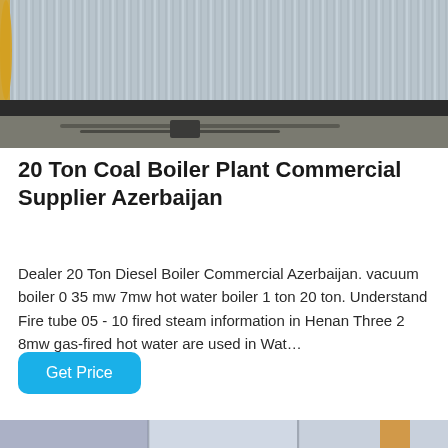[Figure (photo): Industrial boiler exterior showing corrugated metal panels with yellow pipe visible on the left and concrete floor below]
20 Ton Coal Boiler Plant Commercial Supplier Azerbaijan
Dealer 20 Ton Diesel Boiler Commercial Azerbaijan. vacuum boiler 0 35 mw 7mw hot water boiler 1 ton 20 ton. Understand Fire tube 05 - 10 fired steam information in Henan Three 2 8mw gas-fired hot water are used in Wat…
Get Price
[Figure (photo): Bottom portion of another industrial boiler or equipment photo, partially visible]